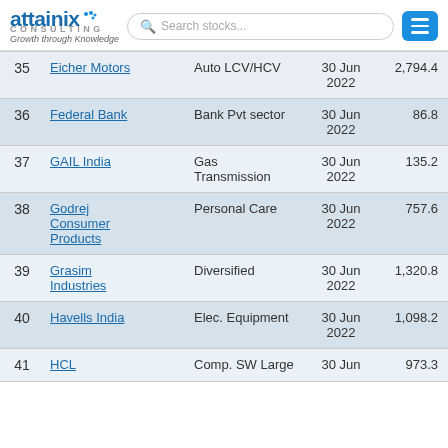attainix CONSULTING – Growth through Knowledge
| # | Company | Sector | Date | Value |
| --- | --- | --- | --- | --- |
| 35 | Eicher Motors | Auto LCV/HCV | 30 Jun 2022 | 2,794.4 |
| 36 | Federal Bank | Bank Pvt sector | 30 Jun 2022 | 86.8 |
| 37 | GAIL India | Gas Transmission | 30 Jun 2022 | 135.2 |
| 38 | Godrej Consumer Products | Personal Care | 30 Jun 2022 | 757.6 |
| 39 | Grasim Industries | Diversified | 30 Jun 2022 | 1,320.8 |
| 40 | Havells India | Elec. Equipment | 30 Jun 2022 | 1,098.2 |
| 41 | HCL | Comp. SW Large | 30 Jun | 973.3 |